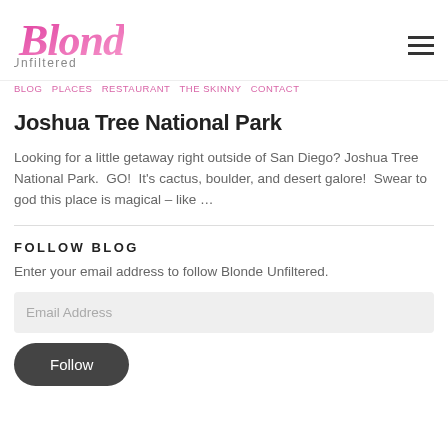Blonde Unfiltered
BLOG  PLACES  RESTAURANT  THE SKINNY  CONTACT
Joshua Tree National Park
Looking for a little getaway right outside of San Diego? Joshua Tree National Park.  GO!  It's cactus, boulder, and desert galore!  Swear to god this place is magical – like ...
FOLLOW BLOG
Enter your email address to follow Blonde Unfiltered.
Email Address
Follow